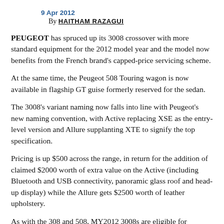9 Apr 2012
By HAITHAM RAZAGUI
PEUGEOT has spruced up its 3008 crossover with more standard equipment for the 2012 model year and the model now benefits from the French brand's capped-price servicing scheme.
At the same time, the Peugeot 508 Touring wagon is now available in flagship GT guise formerly reserved for the sedan.
The 3008's variant naming now falls into line with Peugeot's new naming convention, with Active replacing XSE as the entry-level version and Allure supplanting XTE to signify the top specification.
Pricing is up $500 across the range, in return for the addition of claimed $2000 worth of extra value on the Active (including Bluetooth and USB connectivity, panoramic glass roof and head-up display) while the Allure gets $2500 worth of leather upholstery.
As with the 308 and 508, MY2012 3008s are eligible for